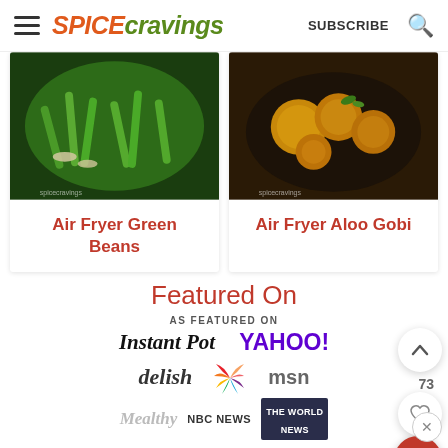SPICE cravings — SUBSCRIBE
[Figure (photo): Green beans with almonds on a dark plate]
Air Fryer Green Beans
[Figure (photo): Aloo Gobi (spiced cauliflower and potato) on a dark plate with garnish]
Air Fryer Aloo Gobi
Featured On
AS FEATURED ON
[Figure (logo): Brand logos: Instant Pot, Yahoo!, delish, NBC (peacock logo), msn, Mealthy, NBC NEWS, The World News]